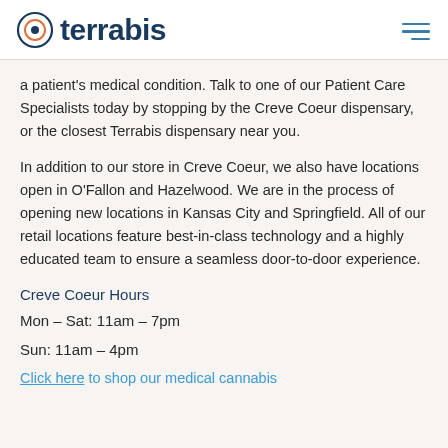terrabis
a patient's medical condition. Talk to one of our Patient Care Specialists today by stopping by the Creve Coeur dispensary, or the closest Terrabis dispensary near you.
In addition to our store in Creve Coeur, we also have locations open in O'Fallon and Hazelwood. We are in the process of opening new locations in Kansas City and Springfield. All of our retail locations feature best-in-class technology and a highly educated team to ensure a seamless door-to-door experience.
Creve Coeur Hours
Mon – Sat: 11am – 7pm
Sun: 11am – 4pm
Click here to shop our medical cannabis